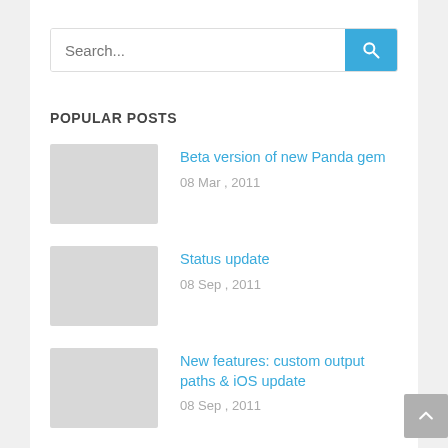[Figure (screenshot): Search input bar with blue search button containing a magnifying glass icon]
POPULAR POSTS
Beta version of new Panda gem
08 Mar , 2011
Status update
08 Sep , 2011
New features: custom output paths & iOS update
08 Sep , 2011
Introducing stacks for advanced profiles
01 Nov , 2012